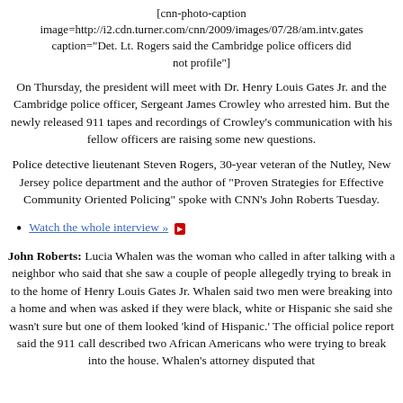[cnn-photo-caption image=http://i2.cdn.turner.com/cnn/2009/images/07/28/am.intv.gates caption="Det. Lt. Rogers said the Cambridge police officers did not profile"]
On Thursday, the president will meet with Dr. Henry Louis Gates Jr. and the Cambridge police officer, Sergeant James Crowley who arrested him. But the newly released 911 tapes and recordings of Crowley’s communication with his fellow officers are raising some new questions.
Police detective lieutenant Steven Rogers, 30-year veteran of the Nutley, New Jersey police department and the author of "Proven Strategies for Effective Community Oriented Policing" spoke with CNN’s John Roberts Tuesday.
Watch the whole interview »
John Roberts: Lucia Whalen was the woman who called in after talking with a neighbor who said that she saw a couple of people allegedly trying to break in to the home of Henry Louis Gates Jr. Whalen said two men were breaking into a home and when was asked if they were black, white or Hispanic she said she wasn’t sure but one of them looked ‘kind of Hispanic.’ The official police report said the 911 call described two African Americans who were trying to break into the house. Whalen’s attorney disputed that